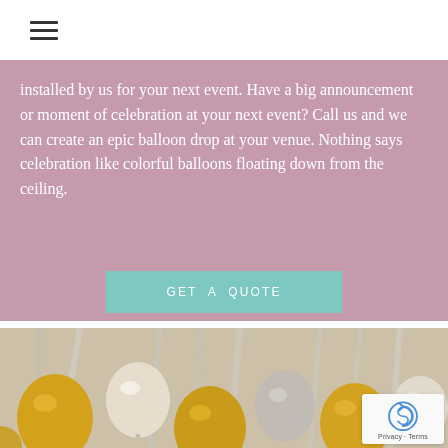☰ (hamburger menu icon)
installed by us for your next event. Have a big announcement or moment of celebration at your next event? Call us and we can create an epic balloon drop at your venue. Nothing says celebration like colorful balloons floating down from the ceiling.
GET A QUOTE
[Figure (photo): Close-up photo of gold, silver and white balloons clustered together, with silver foil streamers in the background.]